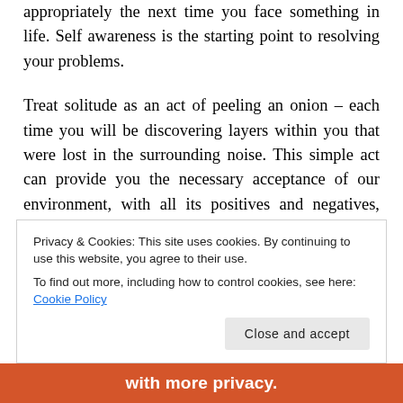appropriately the next time you face something in life. Self awareness is the starting point to resolving your problems.
Treat solitude as an act of peeling an onion – each time you will be discovering layers within you that were lost in the surrounding noise. This simple act can provide you the necessary acceptance of our environment, with all its positives and negatives, allowing you to live your
Privacy & Cookies: This site uses cookies. By continuing to use this website, you agree to their use.
To find out more, including how to control cookies, see here: Cookie Policy
with more privacy.